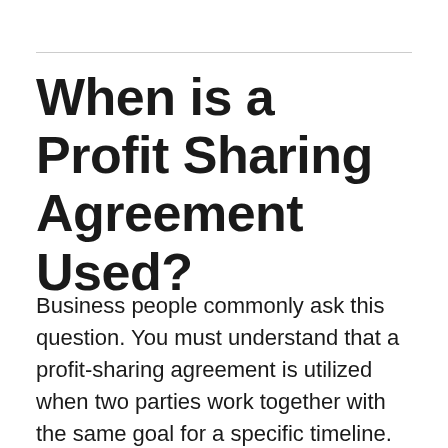When is a Profit Sharing Agreement Used?
Business people commonly ask this question. You must understand that a profit-sharing agreement is utilized when two parties work together with the same goal for a specific timeline. Besides, this type of partnership is also called an unincorporated joint venture, where the two parties remain in partnership without initiating a new company for the sake of the project.